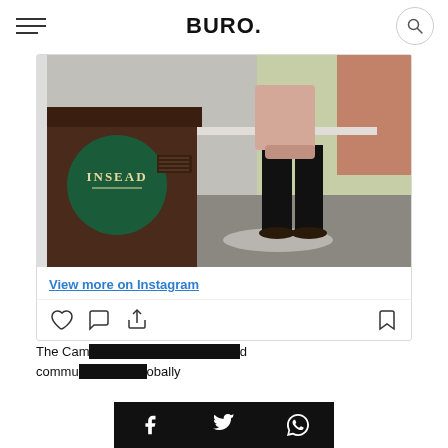BURO.
[Figure (photo): Instagram embed showing a person standing at an INSEAD lectern/podium in a classroom or conference room. The podium has a green INSEAD logo circle.]
View more on Instagram
The Cambridge... community... globally